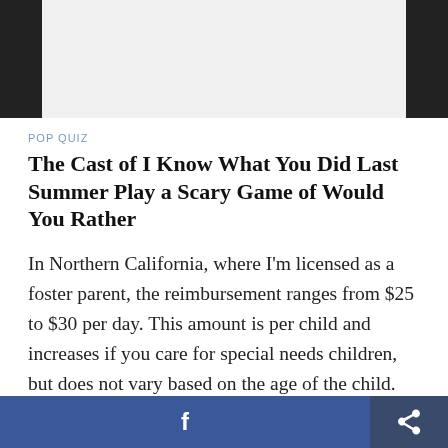POP QUIZ
The Cast of I Know What You Did Last Summer Play a Scary Game of Would You Rather
In Northern California, where I'm licensed as a foster parent, the reimbursement ranges from $25 to $30 per day. This amount is per child and increases if you care for special needs children, but does not vary based on the age of the child. Some counties also provide childcare coverage so you can work while being a foster parent without being
f [Facebook share button] [Share icon button]